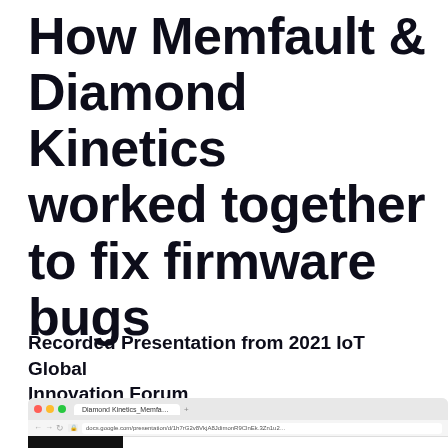How Memfault & Diamond Kinetics worked together to fix firmware bugs
Recorded Presentation from 2021 IoT Global Innovation Forum
[Figure (screenshot): Screenshot of a browser window showing a Google Slides presentation titled 'Diamond Kinetics Memfault' with a black video thumbnail on the left side]